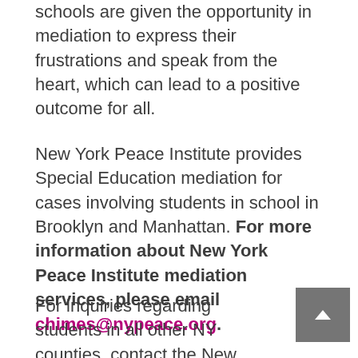schools are given the opportunity in mediation to express their frustrations and speak from the heart, which can lead to a positive outcome for all.
New York Peace Institute provides Special Education mediation for cases involving students in school in Brooklyn and Manhattan. For more information about New York Peace Institute mediation services, please email chimes@nypeace.org.
For inquiries regarding students in all other NY counties, contact the New York State Dispute Resolution Association at